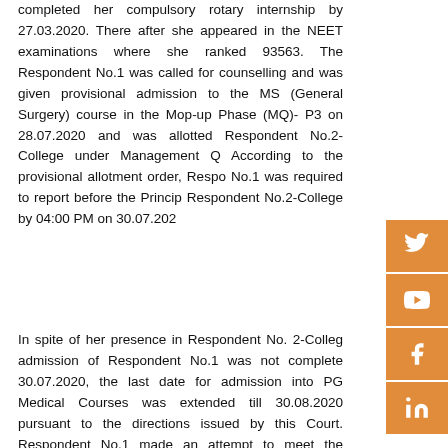completed her compulsory rotary internship by 27.03.2020. There after she appeared in the NEET examinations where she ranked 93563. The Respondent No.1 was called for counselling and was given provisional admission to the MS (General Surgery) course in the Mop-up Phase (MQ)- P3 on 28.07.2020 and was allotted Respondent No.2- College under Management Q... According to the provisional allotment order, Respondent No.1 was required to report before the Principal, Respondent No.2-College by 04:00 PM on 30.07.202...
In spite of her presence in Respondent No. 2-College, admission of Respondent No.1 was not completed on 30.07.2020, the last date for admission into PG Medical Courses was extended till 30.08.2020 pursuant to the directions issued by this Court. Respondent No.1 made an attempt to meet the Chairman of Respondent No.2-College on 07.08.2020. However, she was not permitted